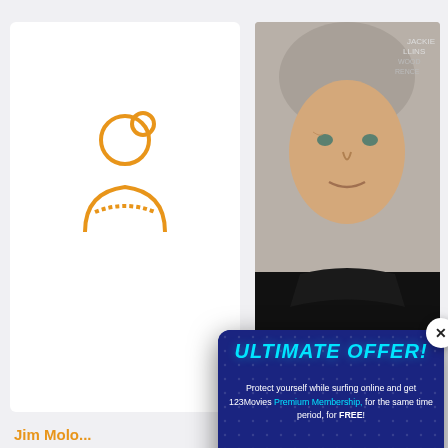[Figure (screenshot): Website screenshot showing a movie database page (123Movies style) with an actor placeholder icon on the left and a real photo of a grey-haired man in a black turtleneck on the right. Partially visible name 'Jim Molo' in orange and date 'October 8,' below. An 'ACTORS O' section heading with person icon is partially visible. A movie thumbnail appears bottom left.]
[Figure (infographic): Pop-up advertisement overlay on dark blue background with dotted pattern. Title 'ULTIMATE OFFER!' in cyan italic bold. Text: 'Protect yourself while surfing online and get 123Movies Premium Membership, for the same time period, for FREE!' A lock icon with blue body and white check mark is centered below the text. A close (X) button in white circle top right. An orange circle with upward arrow bottom right.]